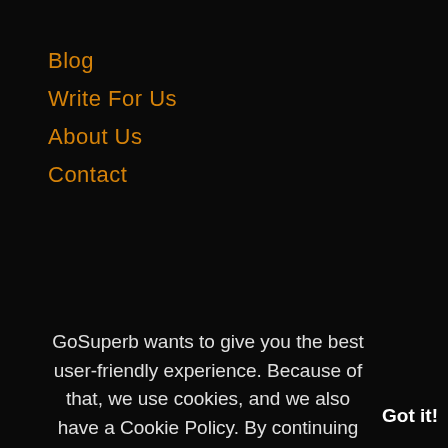Blog
Write For Us
About Us
Contact
GoSuperb wants to give you the best user-friendly experience. Because of that, we use cookies, and we also have a Cookie Policy. By continuing to browse our website, you agree to this policy and the use of cookies. To learn more about them, why we use them and how you can disable them, you can read our Privacy Policy.
Got it!